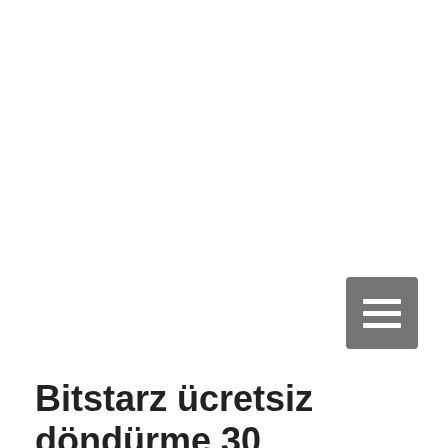[Figure (other): Hamburger menu button — dark grey rounded square with three white horizontal bars]
Bitstarz ücretsiz döndürme 30
Our Live Roulette Bitcoin rooms are available in your favorite cryptocurrency, bitstarz ücretsiz döndürme 30. You can choose between three different types of views: Immersive, 3D, and Classic! With Rocketpot you will learn that part of our mission is to give all of our players the best options possible to enhance each one of